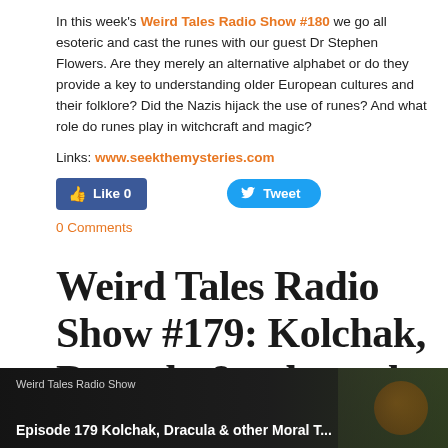In this week's Weird Tales Radio Show #180 we go all esoteric and cast the runes with our guest Dr Stephen Flowers. Are they merely an alternative alphabet or do they provide a key to understanding older European cultures and their folklore? Did the Nazis hijack the use of runes? And what role do runes play in witchcraft and magic?
Links: www.seekthemysteries.com
[Figure (screenshot): Facebook Like button showing 0 likes and a Twitter Tweet button]
0 Comments
Weird Tales Radio Show #179: Kolchak, Dracula & other tales
2/9/2021 | 0 Comments
[Figure (screenshot): Video thumbnail showing Weird Tales Radio Show Episode 179 Kolchak, Dracula & other tales with dark background and a brown circular object]